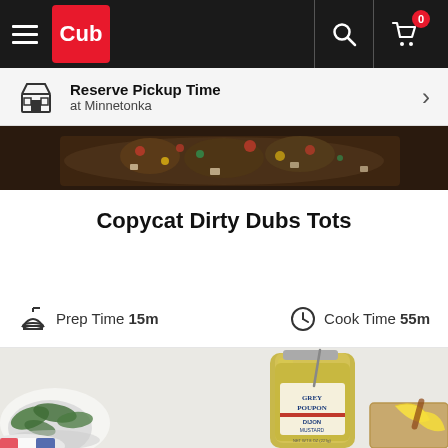Cub — Reserve Pickup Time at Minnetonka
[Figure (photo): Cub grocery store app header with hamburger menu, Cub red logo, search icon, and shopping cart icon with 0 badge]
Reserve Pickup Time at Minnetonka
[Figure (photo): Top partial view of food dish with colorful toppings on a dark background]
Copycat Dirty Dubs Tots
Prep Time 15m   Cook Time 55m
[Figure (photo): Product photo of Grey Poupon Dijon Mustard jar with a spoon, green salad in background and lemon wedges on a cutting board]